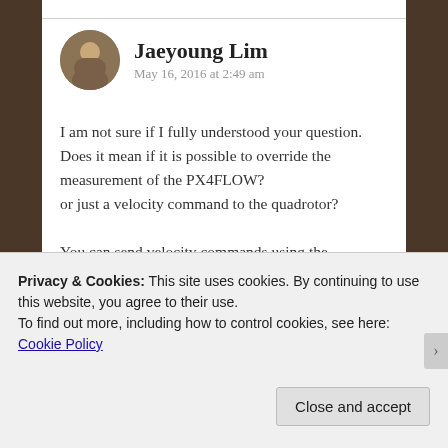Jaeyoung Lim
May 16, 2016 at 2:49 am
I am not sure if I fully understood your question. Does it mean if it is possible to override the measurement of the PX4FLOW?
or just a velocity command to the quadrotor?

You can send velocity commands using the setpoint_velocity/cmd_vel topic
Privacy & Cookies: This site uses cookies. By continuing to use this website, you agree to their use.
To find out more, including how to control cookies, see here: Cookie Policy